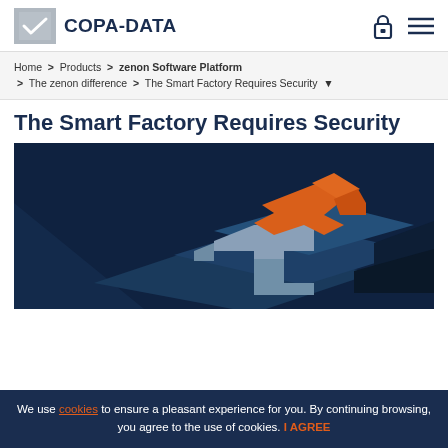COPA-DATA
Home > Products > zenon Software Platform > The zenon difference > The Smart Factory Requires Security
The Smart Factory Requires Security
[Figure (illustration): Dark navy blue hero image with 3D isometric puzzle pieces in dark blue, light grey, and orange, suggesting interconnected smart factory/security concept.]
We use cookies to ensure a pleasant experience for you. By continuing browsing, you agree to the use of cookies. I AGREE